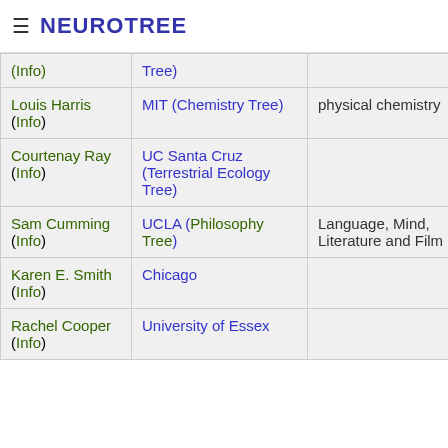≡ NEUROTREE
| Name | Institution | Area | User |
| --- | --- | --- | --- |
| (Info) | Tree) |  |  |
| Louis Harris (Info) | MIT (Chemistry Tree) | physical chemistry | jandh |
| Courtenay Ray (Info) | UC Santa Cruz (Terrestrial Ecology Tree) |  | imparker |
| Sam Cumming (Info) | UCLA (Philosophy Tree) | Language, Mind, Literature and Film | david |
| Karen E. Smith (Info) | Chicago |  | norman1 |
| Rachel Cooper (Info) | University of Essex |  | skennett |